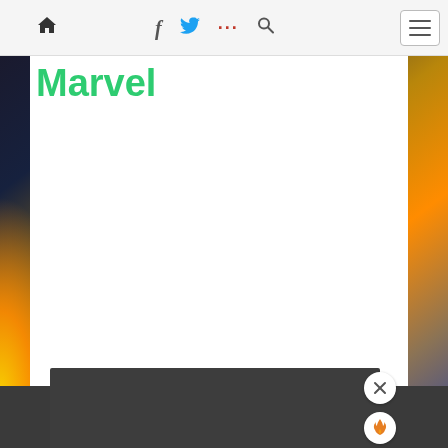Navigation bar with home icon, social icons (Facebook, Twitter, more), search icon, and menu button
Marvel
[Figure (screenshot): Website screenshot showing a navigation bar at top with home, Facebook, Twitter, dots, search icons and a hamburger menu button on the right. Below is a page with 'Marvel' in large green bold text on a white content area, surrounded by a dark fantasy/sci-fi background image. At the bottom is a dark gray panel with close (X) and fire/flame icon buttons.]